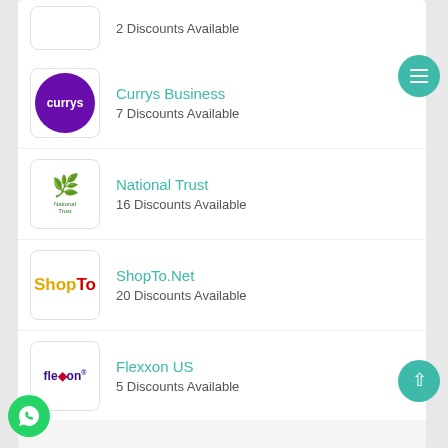2 Discounts Available
Currys Business
7 Discounts Available
National Trust
16 Discounts Available
ShopTo.Net
20 Discounts Available
Flexxon US
5 Discounts Available
Keeper Security US
3 Discounts Available